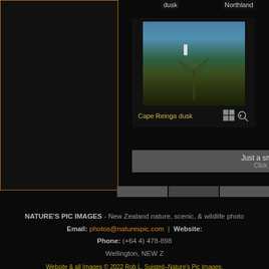[Figure (screenshot): Left panel dark background with orange border, partial website screenshot]
[Figure (photo): Cape Reinga dusk - coastal landscape photo with lighthouse, ocean, and New Zealand flax plant in foreground]
Cape Reinga dusk
Just a sm
Click o
dusk
Northland
NATURE'S PIC IMAGES - New Zealand nature, scenic, & wildlife photo
Email: photos@naturespic.com | Website:
Phone: (+64 4) 478-898
Wellington, NEW Z
Website & all Images © 2022 Rob L. Suisted–Nature's Pic Images.